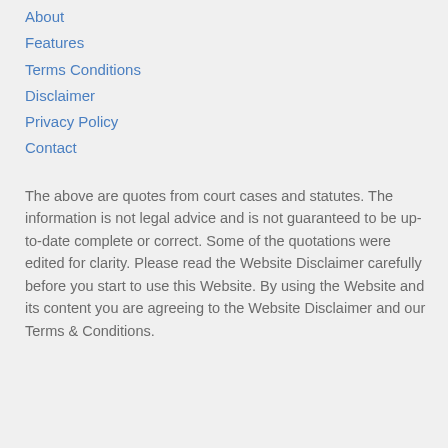About
Features
Terms Conditions
Disclaimer
Privacy Policy
Contact
The above are quotes from court cases and statutes. The information is not legal advice and is not guaranteed to be up-to-date complete or correct. Some of the quotations were edited for clarity. Please read the Website Disclaimer carefully before you start to use this Website. By using the Website and its content you are agreeing to the Website Disclaimer and our Terms & Conditions.